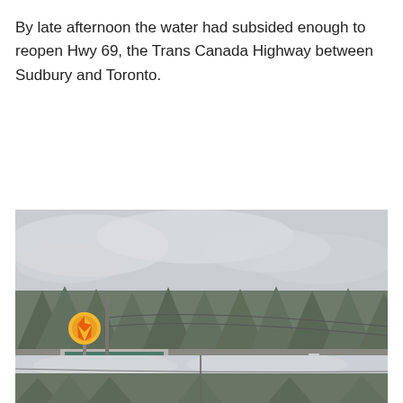By late afternoon the water had subsided enough to reopen Hwy 69, the Trans Canada Highway between Sudbury and Toronto.
[Figure (photo): A road intersection scene showing a Shell gas station on the left, traffic cones and barriers in the road, a semi-truck visible in the background, muddy wet pavement with standing water in the foreground, overcast sky, surrounded by forested hills.]
[Figure (photo): Partial view of another outdoor scene, overcast sky visible, trees in background, appears to be a continuation of the flood scene near a road.]